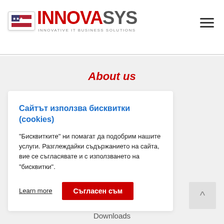[Figure (logo): InnovaSys logo with US flag icon, red INNOVA text and gray SYS text, tagline INNOVATIVE IT BUSINESS SOLUTIONS]
About us
Сайтът използва бисквитки (cookies)
"Бисквитките" ни помагат да подобрим нашите услуги. Разглеждайки съдържанието на сайта, вие се съгласявате и с използването на "бисквитки".
Learn more
Съгласен съм
Downloads